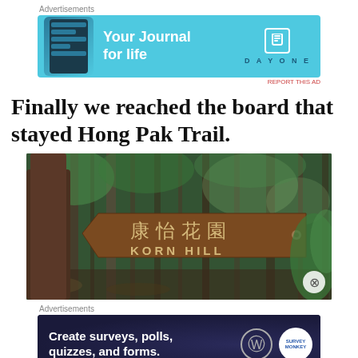[Figure (infographic): Top advertisement banner: 'Your Journal for life' – Day One app ad with blue background, phone image on left and DAYONE text/logo on right]
REPORT THIS AD
Finally we reached the board that stayed Hong Pak Trail.
[Figure (photo): Photograph of a brown wooden trail sign pointing left, showing Chinese characters 康怡花園 and English text KORN HILL, surrounded by green forest vegetation]
[Figure (infographic): Bottom advertisement banner with dark blue starry background: 'Create surveys, polls, quizzes, and forms.' with WordPress and SurveyMonkey logos]
REPORT THIS AD